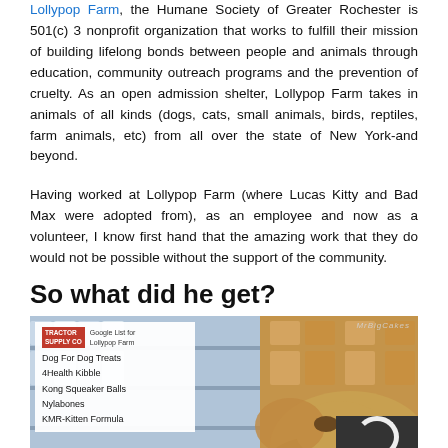Lollypop Farm, the Humane Society of Greater Rochester is 501(c) 3 nonprofit organization that works to fulfill their mission of building lifelong bonds between people and animals through education, community outreach programs and the prevention of cruelty. As an open admission shelter, Lollypop Farm takes in animals of all kinds (dogs, cats, small animals, birds, reptiles, farm animals, etc) from all over the state of New York-and beyond.
Having worked at Lollypop Farm (where Lucas Kitty and Bad Max were adopted from), as an employee and now as a volunteer, I know first hand that the amazing work that they do would not be possible without the support of the community.
So what did he get?
[Figure (photo): Photo of a dog in a pet store with a shopping list overlay. The list reads: Tractor Supply Co - Google List for Lollypop Farm. Dog For Dog Treats, 4Health Kibble, Kong Squeaker Balls, Nylabones, KMR-Kitten Formula. Watermark reads MrBigCakes.]